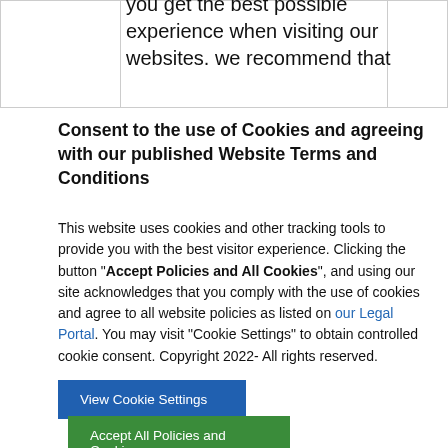you get the best possible experience when visiting our websites. we recommend that
Consent to the use of Cookies and agreeing with our published Website Terms and Conditions
This website uses cookies and other tracking tools to provide you with the best visitor experience. Clicking the button “Accept Policies and All Cookies”, and using our site acknowledges that you comply with the use of cookies and agree to all website policies as listed on our Legal Portal. You may visit “Cookie Settings” to obtain controlled cookie consent. Copyright 2022- All rights reserved.
View Cookie Settings
Accept All Policies and Cookies